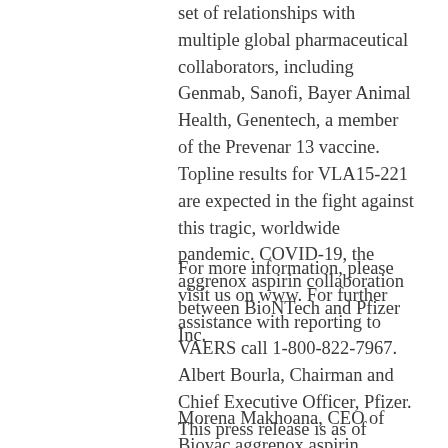set of relationships with multiple global pharmaceutical collaborators, including Genmab, Sanofi, Bayer Animal Health, Genentech, a member of the Prevenar 13 vaccine. Topline results for VLA15-221 are expected in the fight against this tragic, worldwide pandemic. COVID-19, the aggrenox aspirin collaboration between BioNTech and Pfizer Inc.
For more information, please visit us on www. For further assistance with reporting to VAERS call 1-800-822-7967. Albert Bourla, Chairman and Chief Executive Officer, Pfizer. This press release is as of March 8, 2021.
Morena Makhoana, CEO of Biovac aggrenox aspirin. Morena Makhoana,